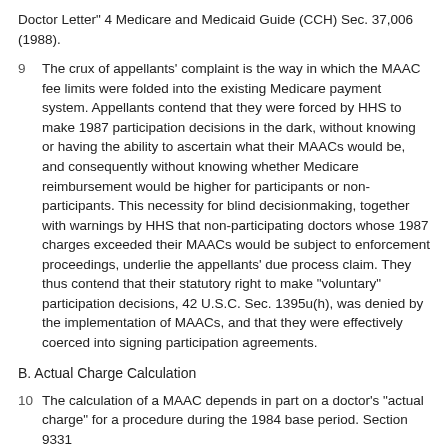Doctor Letter" 4 Medicare and Medicaid Guide (CCH) Sec. 37,006 (1988).
9   The crux of appellants' complaint is the way in which the MAAC fee limits were folded into the existing Medicare payment system. Appellants contend that they were forced by HHS to make 1987 participation decisions in the dark, without knowing or having the ability to ascertain what their MAACs would be, and consequently without knowing whether Medicare reimbursement would be higher for participants or non-participants. This necessity for blind decisionmaking, together with warnings by HHS that non-participating doctors whose 1987 charges exceeded their MAACs would be subject to enforcement proceedings, underlie the appellants' due process claim. They thus contend that their statutory right to make "voluntary" participation decisions, 42 U.S.C. Sec. 1395u(h), was denied by the implementation of MAACs, and that they were effectively coerced into signing participation agreements.
B. Actual Charge Calculation
10   The calculation of a MAAC depends in part on a doctor's "actual charge" for a procedure during the 1984 base period. Section 9331